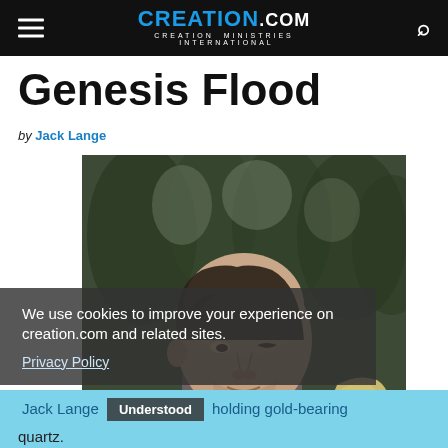CREATION.com — CREATION MINISTRIES INTERNATIONAL
Genesis Flood
by Jack Lange
[Figure (photo): A man (Jack Lange) holding a gold-bearing quartz rock, photographed outdoors with trees in background]
We use cookies to improve your experience on creation.com and related sites. Privacy Policy
Jack Lange holding gold-bearing quartz.